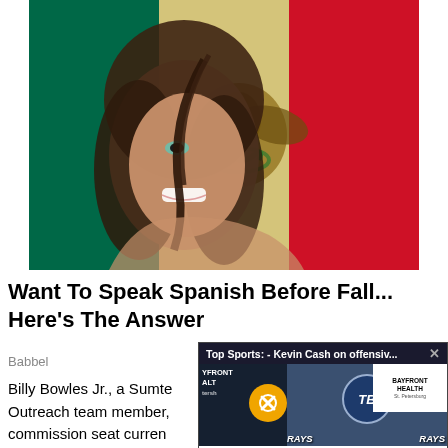[Figure (photo): Woman smiling with hair blowing across face, composited over the Mexican flag (green, white, red stripes with eagle emblem in center)]
Want To Speak Spanish Before Fall... Here's The Answer
Babbel
Billy Bowles Jr., a Sumte Outreach team member, commission seat curren Breeden.
[Figure (screenshot): Video overlay popup: 'Top Sports: - Kevin Cash on offensiv... X' — showing Tampa Bay Rays press conference with coach, TB logo, Bayfront Health St. Petersburg branding, RAYS logos, mute button icon]